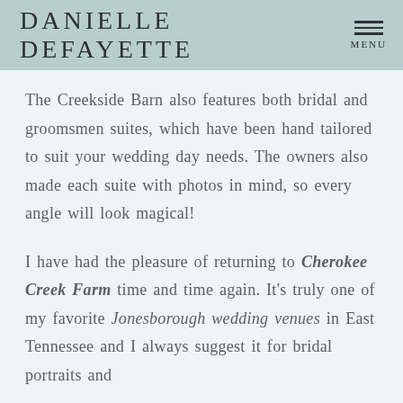DANIELLE DEFAYETTE
The Creekside Barn also features both bridal and groomsmen suites, which have been hand tailored to suit your wedding day needs. The owners also made each suite with photos in mind, so every angle will look magical!
I have had the pleasure of returning to Cherokee Creek Farm time and time again. It's truly one of my favorite Jonesborough wedding venues in East Tennessee and I always suggest it for bridal portraits and